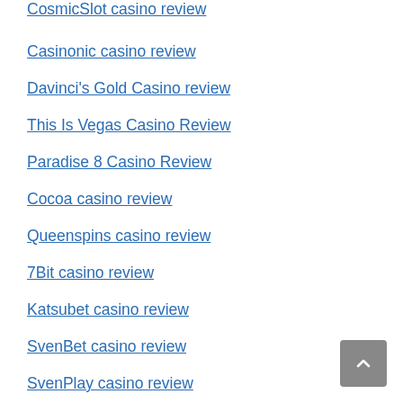CosmicSlot casino review
Casinonic casino review
Davinci's Gold Casino review
This Is Vegas Casino Review
Paradise 8 Casino Review
Cocoa casino review
Queenspins casino review
7Bit casino review
Katsubet casino review
SvenBet casino review
SvenPlay casino review
Ego Casino
Savarona casino review
Uptown Pokies